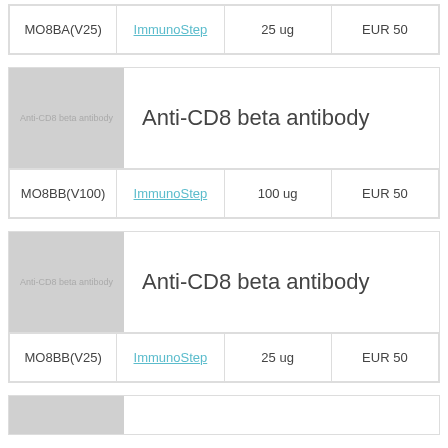| Catalog | Supplier | Amount | Price |
| --- | --- | --- | --- |
| MO8BA(V25) | ImmunoStep | 25 ug | EUR 50 |
[Figure (photo): Placeholder image for Anti-CD8 beta antibody product]
Anti-CD8 beta antibody
| Catalog | Supplier | Amount | Price |
| --- | --- | --- | --- |
| MO8BB(V100) | ImmunoStep | 100 ug | EUR 50 |
[Figure (photo): Placeholder image for Anti-CD8 beta antibody product]
Anti-CD8 beta antibody
| Catalog | Supplier | Amount | Price |
| --- | --- | --- | --- |
| MO8BB(V25) | ImmunoStep | 25 ug | EUR 50 |